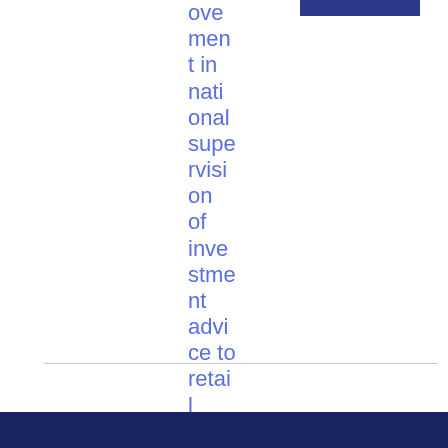improvement in national supervision of investment advice to retail clients